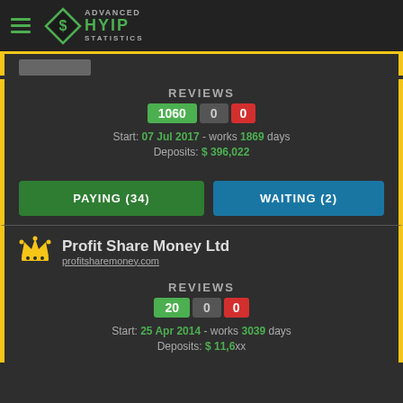Advanced HYIP Statistics
REVIEWS
1060  0  0
Start: 07 Jul 2017 - works 1869 days
Deposits: $ 396,022
PAYING (34)   WAITING (2)
Profit Share Money Ltd
profitsharemoney.com
REVIEWS
20  0  0
Start: 25 Apr 2014 - works 3039 days
Deposits: $ 11,6...